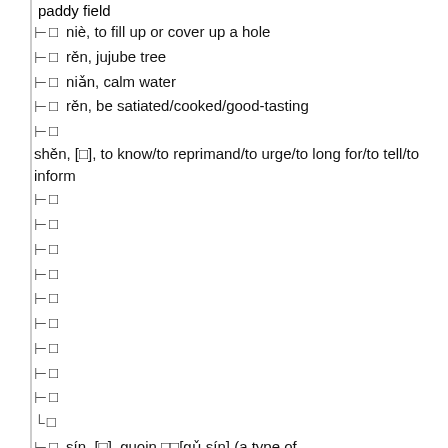paddy field
⊢ □  niè, to fill up or cover up a hole
⊢ □  rěn, jujube tree
⊢ □  niǎn, calm water
⊢ □  rěn, be satiated/cooked/good-tasting
⊢ □  shěn, [□], to know/to reprimand/to urge/to long for/to tell/to inform
⊢ □
⊢ □
⊢ □
⊢ □
⊢ □
⊢ □
⊢ □
⊢ □
⊢ □
└ □
⊢ □  sín, [□], guoin □□[gǔ sín] (a type of